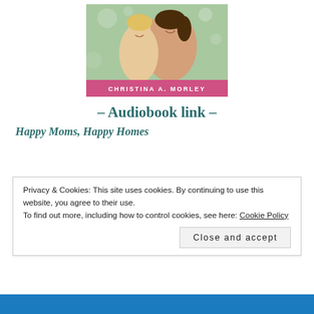[Figure (photo): Book cover photo showing a smiling woman and young blonde girl embracing outdoors, with 'CHRISTINA A. MORLEY' text on a pink banner at the bottom of the cover.]
– Audiobook link –
Happy Moms, Happy Homes
Privacy & Cookies: This site uses cookies. By continuing to use this website, you agree to their use.
To find out more, including how to control cookies, see here: Cookie Policy
Close and accept
[Figure (photo): Partial view of a blue-background image at the bottom of the page, partially obscured.]